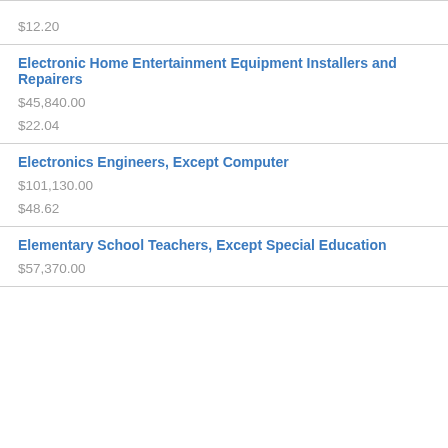$12.20
Electronic Home Entertainment Equipment Installers and Repairers
$45,840.00
$22.04
Electronics Engineers, Except Computer
$101,130.00
$48.62
Elementary School Teachers, Except Special Education
$57,370.00